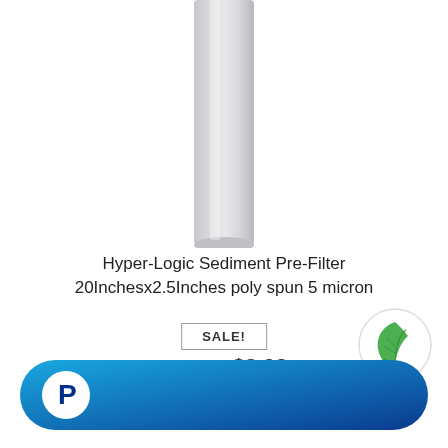[Figure (photo): A white cylindrical sediment filter tube photographed vertically against a white background]
Hyper-Logic Sediment Pre-Filter 20Inchesx2.5Inches poly spun 5 micron
SALE!
$24.34  $8.02
[Figure (logo): PayPal payment button - blue rounded rectangle with PayPal P icon]
[Figure (logo): Green leaf eco badge icon]